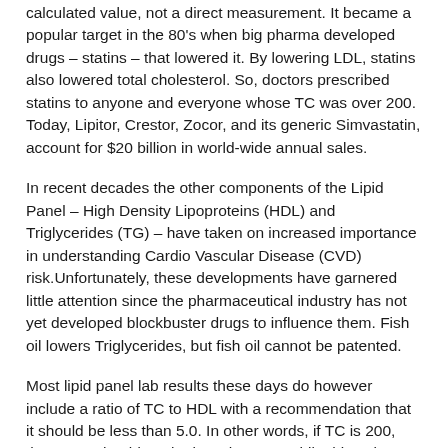calculated value, not a direct measurement. It became a popular target in the 80's when big pharma developed drugs – statins – that lowered it. By lowering LDL, statins also lowered total cholesterol. So, doctors prescribed statins to anyone and everyone whose TC was over 200. Today, Lipitor, Crestor, Zocor, and its generic Simvastatin, account for $20 billion in world-wide annual sales.
In recent decades the other components of the Lipid Panel – High Density Lipoproteins (HDL) and Triglycerides (TG) – have taken on increased importance in understanding Cardio Vascular Disease (CVD) risk.Unfortunately, these developments have garnered little attention since the pharmaceutical industry has not yet developed blockbuster drugs to influence them. Fish oil lowers Triglycerides, but fish oil cannot be patented.
Most lipid panel lab results these days do however include a ratio of TC to HDL with a recommendation that it should be less than 5.0. In other words, if TC is 200, then HDL should not be less than 40. While this at least recognizes the importance of HDL, it is hardly a standard to be emulated. It is, in fact, borderline dangerous. Optimal is <3.5